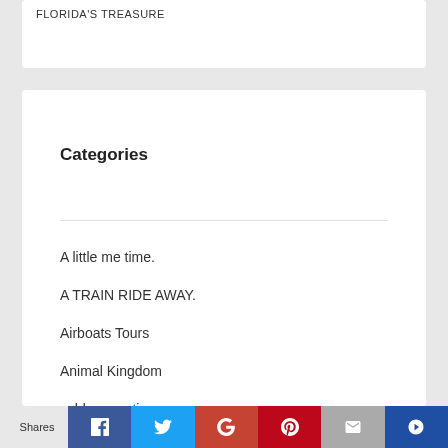FLORIDA'S TREASURE
Categories
A little me time.
A TRAIN RIDE AWAY.
Airboats Tours
Animal Kingdom
cold prevention
day planner
Do it yourself
Shares | Facebook | Twitter | Google+ | Pinterest | Email | Bookmarks